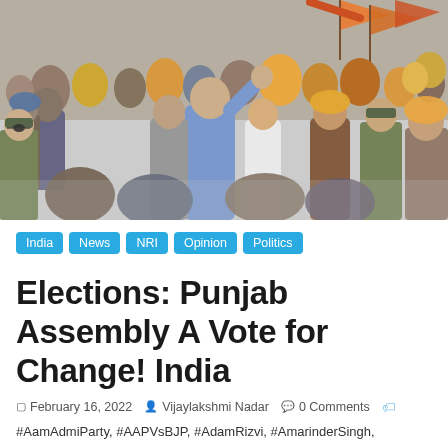[Figure (photo): A large crowd of people, many wearing colorful turbans (yellow, orange, blue), walking together in what appears to be a political rally or march. A person in a blue sweater waves to the crowd. Orange/saffron flags are visible in the background. Includes police officers in uniform.]
India
News
NRI
Opinion
Politics
Elections: Punjab Assembly A Vote for Change! India
February 16, 2022   Vijaylakshmi Nadar   0 Comments
#AamAdmiParty, #AAPVsBJP, #AdamRizvi, #AmarinderSingh,